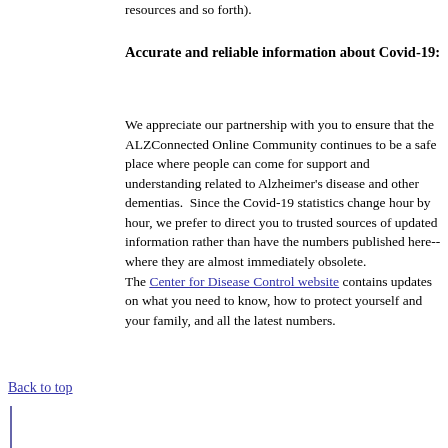resources and so forth).
Accurate and reliable information about Covid-19:
We appreciate our partnership with you to ensure that the ALZConnected Online Community continues to be a safe place where people can come for support and understanding related to Alzheimer's disease and other dementias.  Since the Covid-19 statistics change hour by hour, we prefer to direct you to trusted sources of updated information rather than have the numbers published here--where they are almost immediately obsolete. The Center for Disease Control website contains updates on what you need to know, how to protect yourself and your family, and all the latest numbers.
Back to top